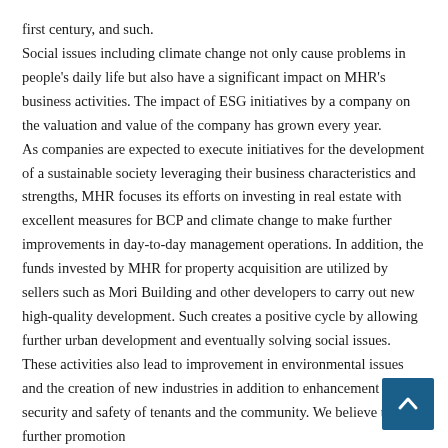first century, and such. Social issues including climate change not only cause problems in people's daily life but also have a significant impact on MHR's business activities. The impact of ESG initiatives by a company on the valuation and value of the company has grown every year. As companies are expected to execute initiatives for the development of a sustainable society leveraging their business characteristics and strengths, MHR focuses its efforts on investing in real estate with excellent measures for BCP and climate change to make further improvements in day-to-day management operations. In addition, the funds invested by MHR for property acquisition are utilized by sellers such as Mori Building and other developers to carry out new high-quality development. Such creates a positive cycle by allowing further urban development and eventually solving social issues. These activities also lead to improvement in environmental issues and the creation of new industries in addition to enhancement of security and safety of tenants and the community. We believe that further promotion of such initiatives will result in the growth of MHR as well as